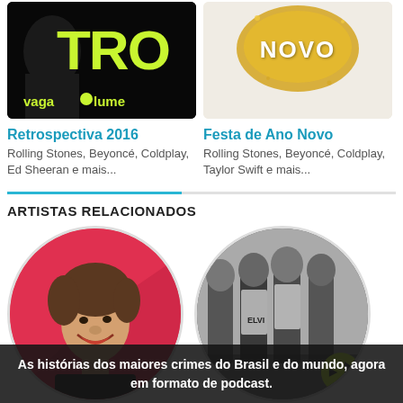[Figure (photo): Dark album cover with large yellow-green text 'TRO' and 'vagalume' logo, silhouette of person on left]
[Figure (photo): Light glittery background with gold lettering 'NOVO']
Retrospectiva 2016
Rolling Stones, Beyoncé, Coldplay, Ed Sheeran e mais...
Festa de Ano Novo
Rolling Stones, Beyoncé, Coldplay, Taylor Swift e mais...
ARTISTAS RELACIONADOS
[Figure (photo): Circular photo of Mick Jagger smiling, brown hair, dark shirt, pink/red background]
[Figure (photo): Circular black and white photo of a band (four members), with green play button overlay]
As histórias dos maiores crimes do Brasil e do mundo, agora em formato de podcast.